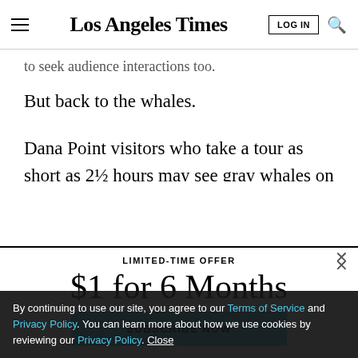Los Angeles Times
to seek audience interactions too.
But back to the whales.
Dana Point visitors who take a tour as short as 2½ hours may see gray whales on their round-trip migration
[Figure (screenshot): Subscription offer overlay with 'LIMITED-TIME OFFER', '$1 for 6 Months', and 'SUBSCRIBE NOW' button in cyan/blue]
By continuing to use our site, you agree to our Terms of Service and Privacy Policy. You can learn more about how we use cookies by reviewing our Privacy Policy. Close